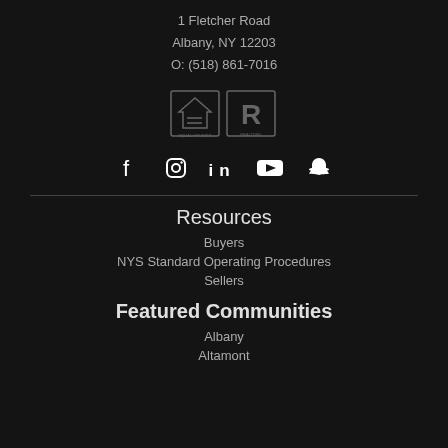1 Fletcher Road
Albany, NY 12203
O: (518) 861-7016
[Figure (logo): Equal Housing Opportunity and Realtor logos side by side]
[Figure (infographic): Social media icons: Facebook, Instagram, LinkedIn, YouTube, Snapchat]
Resources
Buyers
NYS Standard Operating Procedures
Sellers
Featured Communities
Albany
Altamont